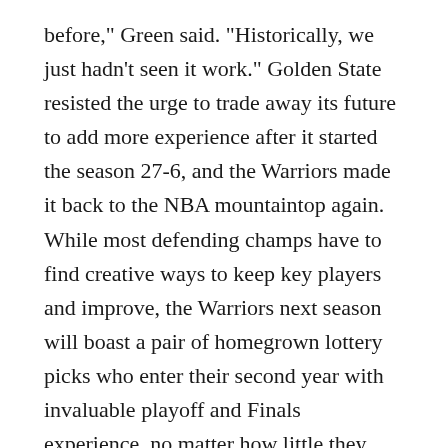before," Green said. "Historically, we just hadn't seen it work." Golden State resisted the urge to trade away its future to add more experience after it started the season 27-6, and the Warriors made it back to the NBA mountaintop again. While most defending champs have to find creative ways to keep key players and improve, the Warriors next season will boast a pair of homegrown lottery picks who enter their second year with invaluable playoff and Finals experience, no matter how little they played. Now, the Warriors' championship DNA also flows through Kuminga and Moody. "Most people spend their career chasing that," Green said. "And worried like, I need to get to this team, I need to be around these guys, we need that coach. If you are not a loser, which we have a bunch of come through this league, then you worry about that your entire career. "For them to not have that worry moving forward, like you